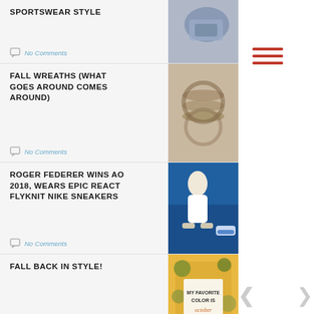SPORTSWEAR STYLE
No Comments
FALL WREATHS (WHAT GOES AROUND COMES AROUND)
No Comments
ROGER FEDERER WINS AO 2018, WEARS EPIC REACT FLYKNIT NIKE SNEAKERS
No Comments
FALL BACK IN STYLE!
2 Comments
WHAT TO WEAR FOR SPRING SUMMER 2017:
[Figure (illustration): Hamburger menu icon with three red horizontal lines]
[Figure (photo): Silver/metallic athletic shorts sportswear photo]
[Figure (photo): Fall wreaths made of dried flowers and branches]
[Figure (photo): Roger Federer holding trophy at Australian Open 2018 with Nike sneaker]
[Figure (photo): Sign saying MY FAVORITE COLOR IS october with fall foliage]
[Figure (photo): Zebra print leggings spring summer fashion photo]